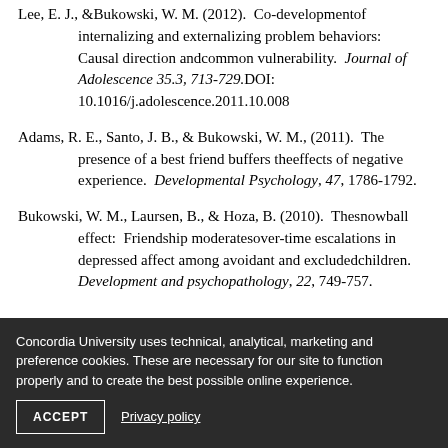Lee, E. J., &Bukowski, W. M. (2012). Co-developmentof internalizing and externalizing problem behaviors: Causal direction andcommon vulnerability. Journal of Adolescence 35.3, 713-729.DOI: 10.1016/j.adolescence.2011.10.008
Adams, R. E., Santo, J. B., & Bukowski, W. M., (2011). The presence of a best friend buffers theeffects of negative experience. Developmental Psychology, 47, 1786-1792.
Bukowski, W. M., Laursen, B., & Hoza, B. (2010). Thesnowball effect: Friendship moderatesover-time escalations in depressed affect among avoidant and excludedchildren. Development and psychopathology, 22, 749-757.
Concordia University uses technical, analytical, marketing and preference cookies. These are necessary for our site to function properly and to create the best possible online experience.